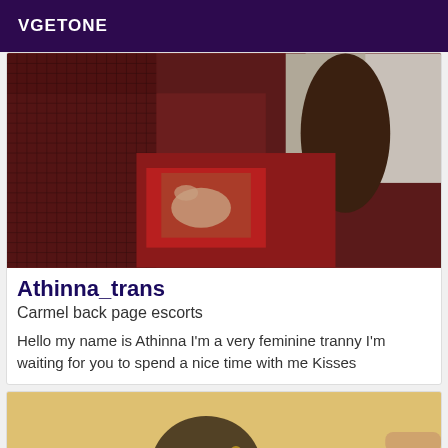VGETONE
[Figure (photo): Close-up photo of a person wearing fishnet stockings and a dark red/maroon outfit with a patterned fabric]
Athinna_trans
Carmel back page escorts
Hello my name is Athinna I'm a very feminine tranny I'm waiting for you to spend a nice time with me Kisses
[Figure (photo): Partial photo showing a warm golden/beige background with a person's head partially visible]